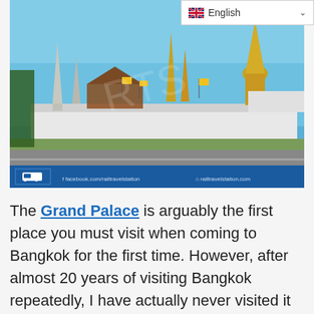[Figure (photo): Photo of the Grand Palace in Bangkok, showing white walls with yellow flags and golden spires against a blue sky, with a road in the foreground. Blue footer bar with facebook.com/railtravelstation and railtravelstation.com links and a train logo.]
The Grand Palace is arguably the first place you must visit when coming to Bangkok for the first time. However, after almost 20 years of visiting Bangkok repeatedly, I have actually never visited it before, and finally got myself to visit the Grand Palace only now. With the opening of Sanam